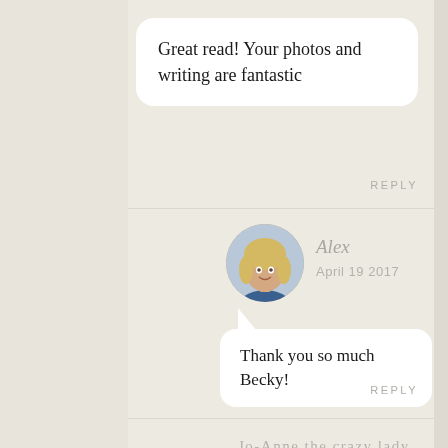Great read! Your photos and writing are fantastic
REPLY
Alex
April 19 2017
Thank you so much Becky!
REPLY
[Figure (photo): Circular avatar photo of a blonde woman smiling]
Jo-Anne the crazy lady
April 18 2017
[Figure (illustration): Australian flag kangaroo logo in blue and red]
Amazing and wonderful photos of what sounds and looks like an amazing time